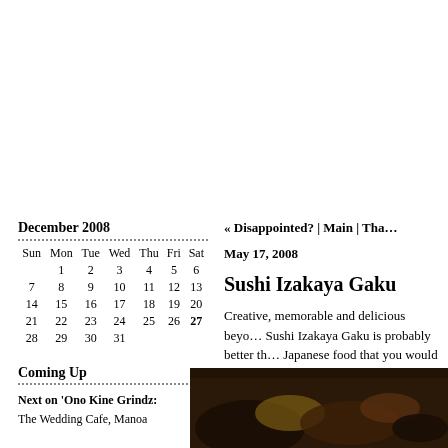December 2008
| Sun | Mon | Tue | Wed | Thu | Fri | Sat |
| --- | --- | --- | --- | --- | --- | --- |
|  | 1 | 2 | 3 | 4 | 5 | 6 |
| 7 | 8 | 9 | 10 | 11 | 12 | 13 |
| 14 | 15 | 16 | 17 | 18 | 19 | 20 |
| 21 | 22 | 23 | 24 | 25 | 26 | 27 |
| 28 | 29 | 30 | 31 |  |  |  |
Coming Up
Next on 'Ono Kine Grindz:
The Wedding Cafe, Manoa
« Disappointed? | Main | Tha…
May 17, 2008
Sushi Izakaya Gaku
Creative, memorable and delicious beyo… Sushi Izakaya Gaku is probably better th… Japanese food that you would find aroun… about a year now, the crowds at this izak… been growing steadily. Inexpensive Japa… but it is so worth every penny spent. It is…
[Figure (photo): Close-up photo of Japanese food dish, dark background]